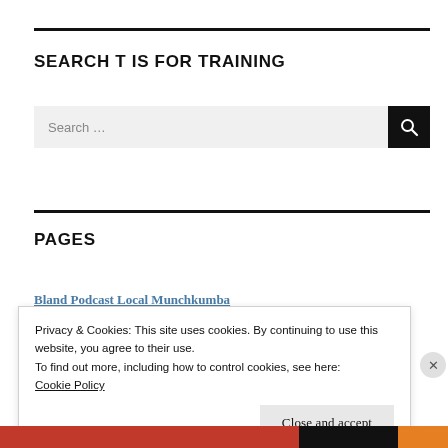SEARCH T IS FOR TRAINING
[Figure (screenshot): Search input box with dark search button icon]
PAGES
Bland Podcast Local Munchkumba
Privacy & Cookies: This site uses cookies. By continuing to use this website, you agree to their use.
To find out more, including how to control cookies, see here:
Cookie Policy
Close and accept